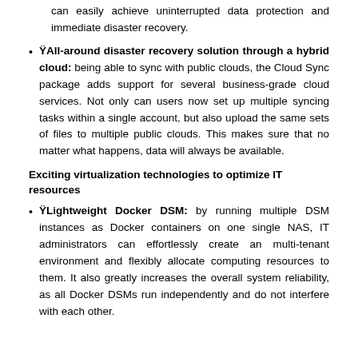can easily achieve uninterrupted data protection and immediate disaster recovery.
ŸAll-around disaster recovery solution through a hybrid cloud: being able to sync with public clouds, the Cloud Sync package adds support for several business-grade cloud services. Not only can users now set up multiple syncing tasks within a single account, but also upload the same sets of files to multiple public clouds. This makes sure that no matter what happens, data will always be available.
Exciting virtualization technologies to optimize IT resources
ŸLightweight Docker DSM: by running multiple DSM instances as Docker containers on one single NAS, IT administrators can effortlessly create an multi-tenant environment and flexibly allocate computing resources to them. It also greatly increases the overall system reliability, as all Docker DSMs run independently and do not interfere with each other.